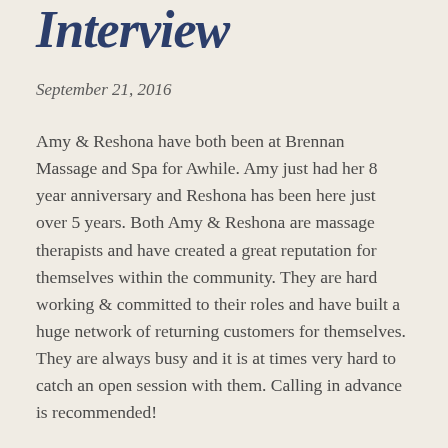Interview
September 21, 2016
Amy & Reshona have both been at Brennan Massage and Spa for Awhile. Amy just had her 8 year anniversary and Reshona has been here just over 5 years. Both Amy & Reshona are massage therapists and have created a great reputation for themselves within the community. They are hard working & committed to their roles and have built a huge network of returning customers for themselves. They are always busy and it is at times very hard to catch an open session with them. Calling in advance is recommended!